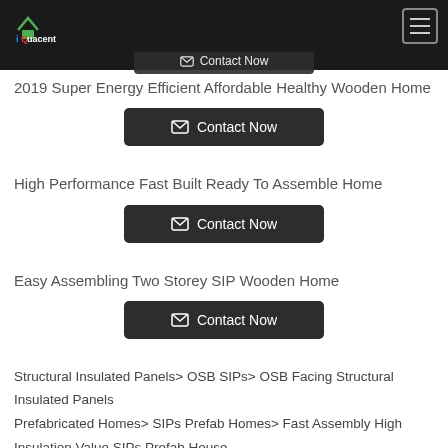iQuacent
2019 Super Energy Efficient Affordable Healthy Wooden Home
Contact Now
High Performance Fast Built Ready To Assemble Home
Contact Now
Easy Assembling Two Storey SIP Wooden Home
Contact Now
Structural Insulated Panels> OSB SIPs> OSB Facing Structural Insulated Panels
Prefabricated Homes> SIPs Prefab Homes> Fast Assembly High Insulation Value SIPs Prefab House
Prefabricated Homes> Luxury And Resort Prefab House>